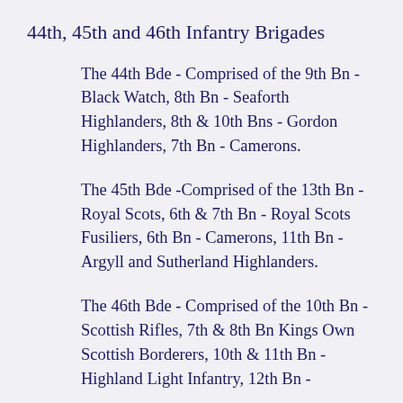44th, 45th and 46th Infantry Brigades
The 44th Bde - Comprised of the 9th Bn - Black Watch, 8th Bn - Seaforth Highlanders, 8th & 10th Bns - Gordon Highlanders, 7th Bn - Camerons.
The 45th Bde -Comprised of the 13th Bn - Royal Scots, 6th & 7th Bn - Royal Scots Fusiliers, 6th Bn - Camerons, 11th Bn - Argyll and Sutherland Highlanders.
The 46th Bde - Comprised of the 10th Bn - Scottish Rifles, 7th & 8th Bn Kings Own Scottish Borderers, 10th & 11th Bn - Highland Light Infantry, 12th Bn -